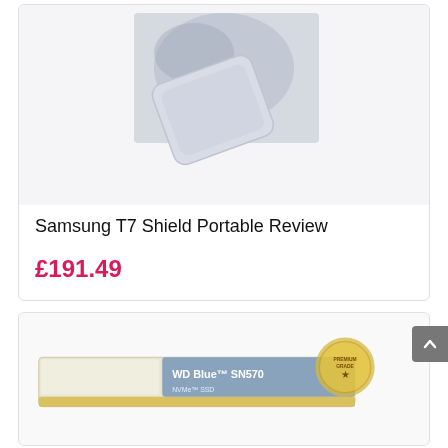[Figure (photo): Samsung T7 Shield Portable SSD product photo showing the device with case]
Samsung T7 Shield Portable Review
£191.49
[Figure (photo): WD Blue SN570 NVMe SSD product photo with premium grade badge]